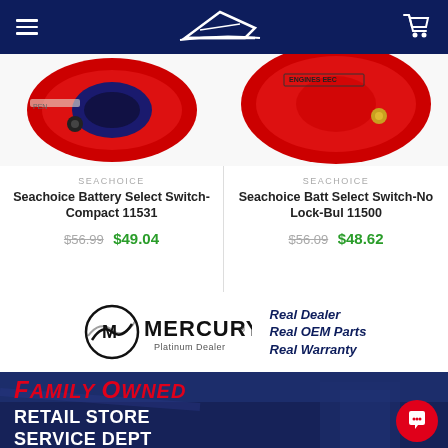Navigation bar with hamburger menu, boat logo, and cart icon
[Figure (photo): Seachoice Battery Select Switch-Compact 11531 product image - red circular battery switch]
SEACHOICE
Seachoice Battery Select Switch-Compact 11531
$56.99 $49.04
[Figure (photo): Seachoice Batt Select Switch-No Lock-Bul 11500 product image - red circular battery switch]
SEACHOICE
Seachoice Batt Select Switch-No Lock-Bul 11500
$56.09 $48.62
[Figure (logo): Mercury Platinum Dealer logo with circular M emblem]
Real Dealer Real OEM Parts Real Warranty
[Figure (photo): Family Owned banner with red italic text and Retail Store Service Dept in white bold text on dark blue background]